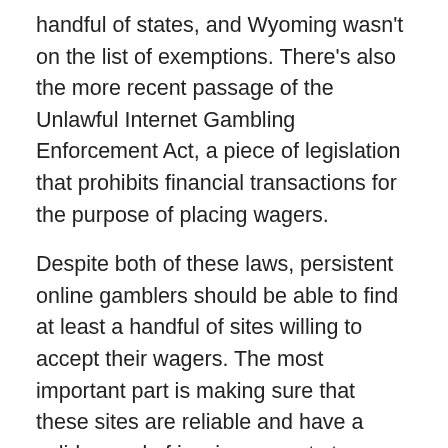handful of states, and Wyoming wasn't on the list of exemptions. There's also the more recent passage of the Unlawful Internet Gambling Enforcement Act, a piece of legislation that prohibits financial transactions for the purpose of placing wagers.
Despite both of these laws, persistent online gamblers should be able to find at least a handful of sites willing to accept their wagers. The most important part is making sure that these sites are reliable and have a solid record of issuing payouts to winners. As long as this is the case, you should be able to gamble online in Wyoming without fear of being branded a criminal and thrown into a darkened cell.
Other Ways to Bet in the State
Since no legal sportsbooks exist in the state, you may have to get creative if you don't want to wager on the